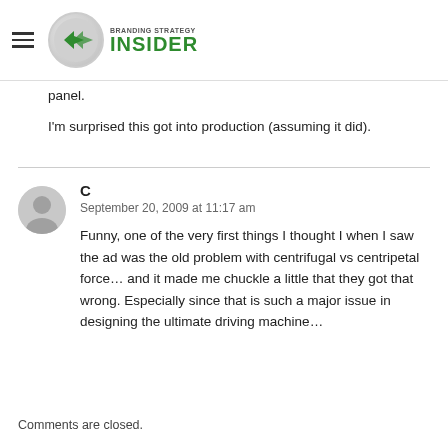Branding Strategy Insider
panel.
I'm surprised this got into production (assuming it did).
C
September 20, 2009 at 11:17 am

Funny, one of the very first things I thought I when I saw the ad was the old problem with centrifugal vs centripetal force… and it made me chuckle a little that they got that wrong. Especially since that is such a major issue in designing the ultimate driving machine…
Comments are closed.